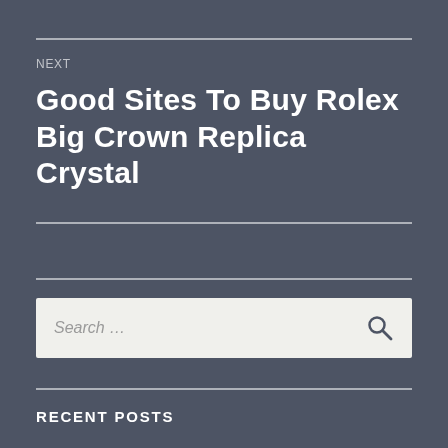NEXT
Good Sites To Buy Rolex Big Crown Replica Crystal
Search …
RECENT POSTS